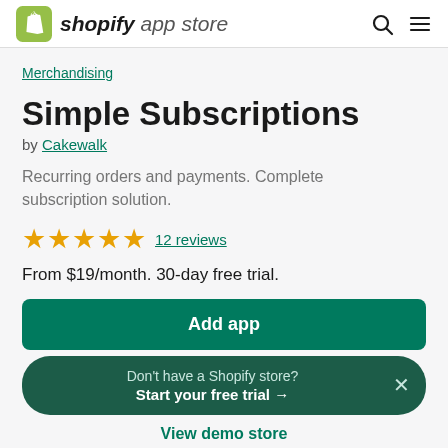shopify app store
Merchandising
Simple Subscriptions
by Cakewalk
Recurring orders and payments. Complete subscription solution.
★★★★★ 12 reviews
From $19/month. 30-day free trial.
Add app
Don't have a Shopify store? Start your free trial →
View demo store